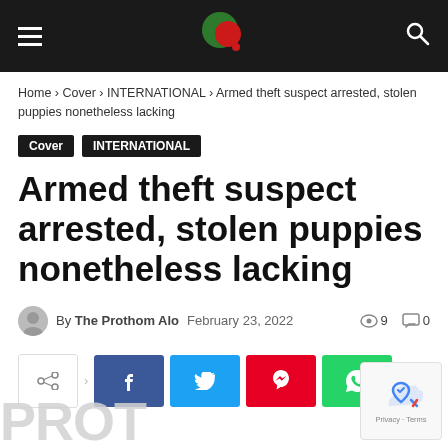Prothom Alo navigation bar with logo
Home › Cover › INTERNATIONAL › Armed theft suspect arrested, stolen puppies nonetheless lacking
Cover   INTERNATIONAL
Armed theft suspect arrested, stolen puppies nonetheless lacking
By The Prothom Alo   February 23, 2022   9 views   0 comments
[Figure (infographic): Social share buttons: share, Facebook, Twitter, Pinterest, WhatsApp]
[Figure (photo): Partially visible large watermark text at the bottom of the page and a reCAPTCHA widget in the bottom right corner]